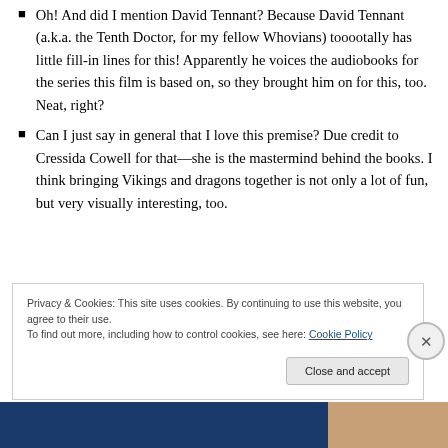Oh! And did I mention David Tennant? Because David Tennant (a.k.a. the Tenth Doctor, for my fellow Whovians) tooootally has little fill-in lines for this! Apparently he voices the audiobooks for the series this film is based on, so they brought him on for this, too. Neat, right?
Can I just say in general that I love this premise? Due credit to Cressida Cowell for that—she is the mastermind behind the books. I think bringing Vikings and dragons together is not only a lot of fun, but very visually interesting, too.
Privacy & Cookies: This site uses cookies. By continuing to use this website, you agree to their use.
To find out more, including how to control cookies, see here: Cookie Policy